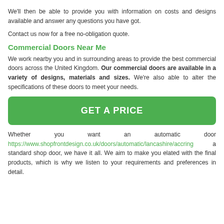We'll then be able to provide you with information on costs and designs available and answer any questions you have got.
Contact us now for a free no-obligation quote.
Commercial Doors Near Me
We work nearby you and in surrounding areas to provide the best commercial doors across the United Kingdom. Our commercial doors are available in a variety of designs, materials and sizes. We're also able to alter the specifications of these doors to meet your needs.
[Figure (other): Green GET A PRICE button]
Whether you want an automatic door https://www.shopfrontdesign.co.uk/doors/automatic/lancashire/accring a standard shop door, we have it all. We aim to make you elated with the final products, which is why we listen to your requirements and preferences in detail.